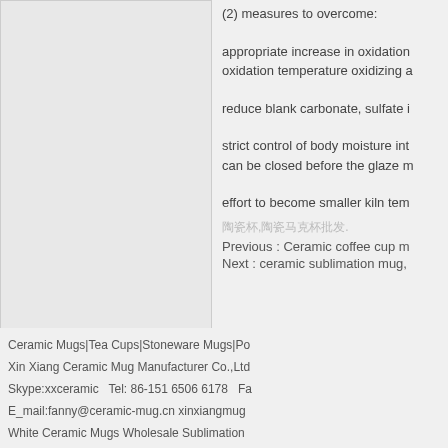[Figure (other): Gray rectangle placeholder image on the left side of the page]
(2) measures to overcome:
appropriate increase in oxidation temperature oxidizing a
reduce blank carbonate, sulfate i
strict control of body moisture into the glaze can be closed before the glaze m
effort to become smaller kiln tem
陶瓷杯,陶瓷马克杯批发.
Previous : Ceramic coffee cup m
Next : ceramic sublimation mug,
Ceramic Mugs|Tea Cups|Stoneware Mugs|Po Xin Xiang Ceramic Mug Manufacturer Co.,Ltd Skype:xxceramic   Tel: 86-151 6506 6178   Fa E_mail:fanny@ceramic-mug.cn xinxiangmug White Ceramic Mugs Wholesale Sublimation